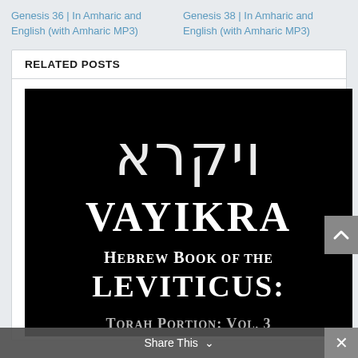Genesis 36 | In Amharic and English (with Amharic MP3)
Genesis 38 | In Amharic and English (with Amharic MP3)
RELATED POSTS
[Figure (illustration): Book cover image on black background showing Hebrew text (ויקרא), then 'VAYIKRA' in large white serif text, subtitle 'Hebrew Book of the Leviticus:' and partial text 'Torah Portion: Vol. 3']
Share This ∨
✕